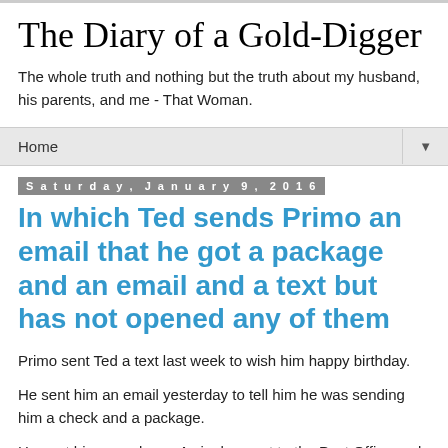The Diary of a Gold-Digger
The whole truth and nothing but the truth about my husband, his parents, and me - That Woman.
Home ▼
Saturday, January 9, 2016
In which Ted sends Primo an email that he got a package and an email and a text but has not opened any of them
Primo sent Ted a text last week to wish him happy birthday.
He sent him an email yesterday to tell him he was sending him a check and a package.
He sent him a package. As in, he went to the Post Office and